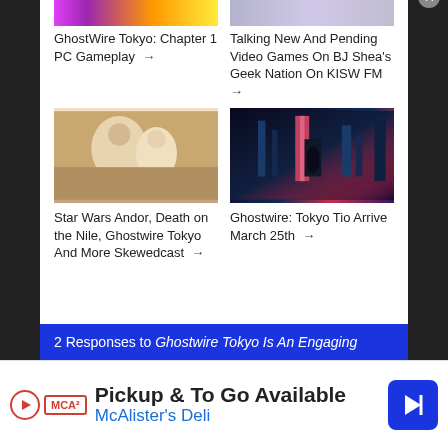[Figure (photo): Cropped top thumbnail for GhostWire Tokyo article - colorful game screenshot]
[Figure (photo): Cropped top thumbnail for Talking New And Pending Video Games article]
GhostWire Tokyo: Chapter 1 PC Gameplay →
Talking New And Pending Video Games On BJ Shea's Geek Nation On KISW FM →
[Figure (photo): Star Wars Andor, Death on the Nile article thumbnail showing two characters]
[Figure (photo): Ghostwire Tokyo Tio article thumbnail - silhouette in rainy neon city]
Star Wars Andor, Death on the Nile, Ghostwire Tokyo And More Skewedcast →
Ghostwire: Tokyo Tio Arrive March 25th →
2 Responses to Ghostwire Tokyo Is An Engaging
Pickup & To Go Available
McAlister's Deli